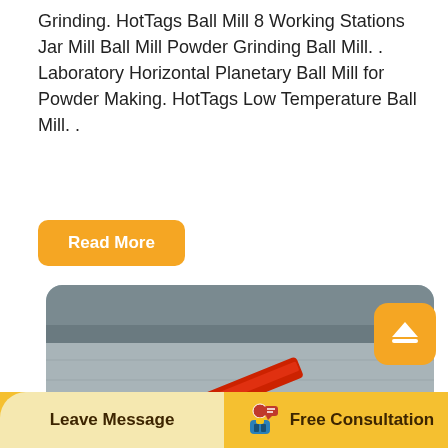Grinding. HotTags Ball Mill 8 Working Stations Jar Mill Ball Mill Powder Grinding Ball Mill. . Laboratory Horizontal Planetary Ball Mill for Powder Making. HotTags Low Temperature Ball Mill. .
Read More
[Figure (photo): Construction site photo showing a large mobile jaw crusher/screener machine (red and dark grey) processing rubble/debris. A worker in high-vis vest visible near machine. Excavator visible in background right (Komatsu/Hitachi). Concrete retaining wall and overhead bridge structure in background.]
Leave Message   Free Consultation